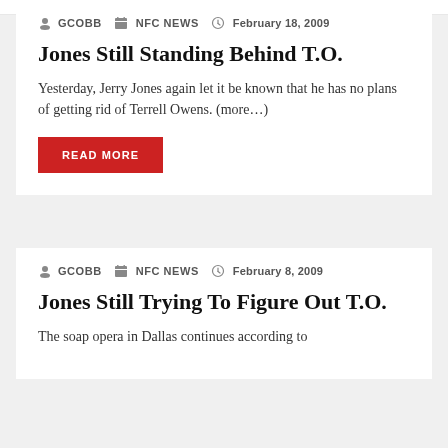GCOBB  NFC News  February 18, 2009
Jones Still Standing Behind T.O.
Yesterday, Jerry Jones again let it be known that he has no plans of getting rid of Terrell Owens. (more…)
READ MORE
GCOBB  NFC News  February 8, 2009
Jones Still Trying To Figure Out T.O.
The soap opera in Dallas continues according to